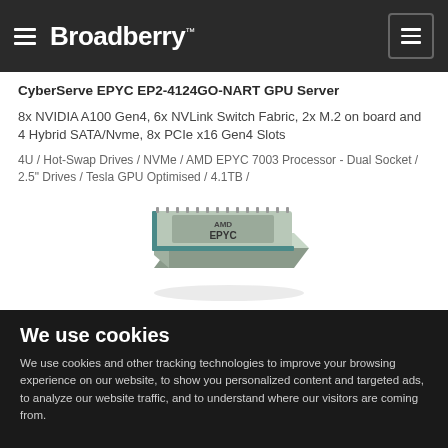Broadberry
CyberServe EPYC EP2-4124GO-NART GPU Server
8x NVIDIA A100 Gen4, 6x NVLink Switch Fabric, 2x M.2 on board and 4 Hybrid SATA/Nvme, 8x PCIe x16 Gen4 Slots
4U / Hot-Swap Drives / NVMe / AMD EPYC 7003 Processor - Dual Socket / 2.5" Drives / Tesla GPU Optimised / 4.1TB /
[Figure (photo): AMD EPYC processor chip, silver/grey color, viewed from an angle showing the top surface with AMD EPYC branding]
We use cookies
We use cookies and other tracking technologies to improve your browsing experience on our website, to show you personalized content and targeted ads, to analyze our website traffic, and to understand where our visitors are coming from.